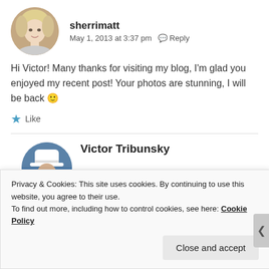[Figure (photo): Round avatar photo of a blonde woman]
sherrimatt
May 1, 2013 at 3:37 pm  Reply
Hi Victor! Many thanks for visiting my blog, I'm glad you enjoyed my recent post! Your photos are stunning, I will be back 🙂
★ Like
[Figure (photo): Round avatar photo of a man in a captain's hat]
Victor Tribunsky
Privacy & Cookies: This site uses cookies. By continuing to use this website, you agree to their use.
To find out more, including how to control cookies, see here: Cookie Policy
Close and accept